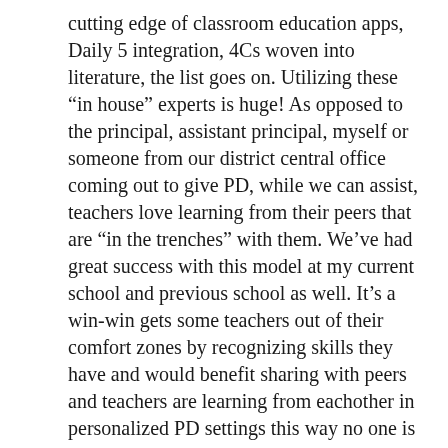cutting edge of classroom education apps, Daily 5 integration, 4Cs woven into literature, the list goes on. Utilizing these “in house” experts is huge! As opposed to the principal, assistant principal, myself or someone from our district central office coming out to give PD, while we can assist, teachers love learning from their peers that are “in the trenches” with them. We’ve had great success with this model at my current school and previous school as well. It’s a win-win gets some teachers out of their comfort zones by recognizing skills they have and would benefit sharing with peers and teachers are learning from eachother in personalized PD settings this way no one is learning things they already know about, have previously heard, already are experts on, etc. This makes the PD much, much more meaningful.
Being in the 21st century brings about all sorts of new technology. Example. Last spring one of our Kindergarten teachers came to me asking about the Seesaw app she